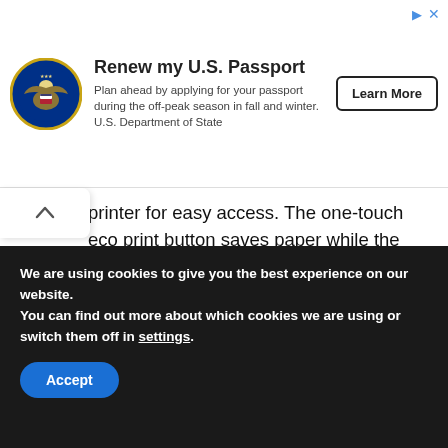[Figure (screenshot): Advertisement banner for US Passport renewal. Shows US Department of State seal, headline 'Renew my U.S. Passport', body text about applying during off-peak season, and a 'Learn More' button.]
printer for easy access. The one-touch eco print button saves paper while the default toner mode makes saving toner effortless. Since you can print, copy and scan, this laser printer is a multi-tasker you can’t do without.
Read also : Samsung SDP-860 Driver And Software Download For Windows
We are using cookies to give you the best experience on our website.
You can find out more about which cookies we are using or switch them off in settings.
Accept